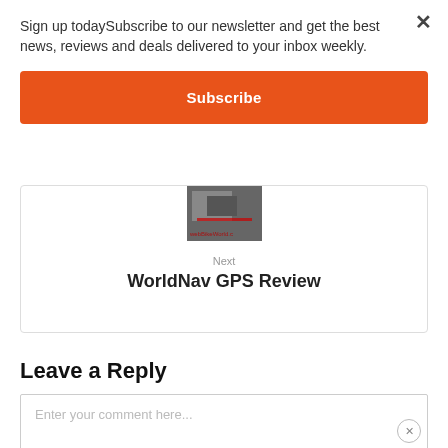Sign up todaySubscribe to our newsletter and get the best news, reviews and deals delivered to your inbox weekly.
[Figure (screenshot): Orange Subscribe button]
[Figure (photo): Small thumbnail photo with webBikeWorld.c watermark]
Next
WorldNav GPS Review
Leave a Reply
Enter your comment here...